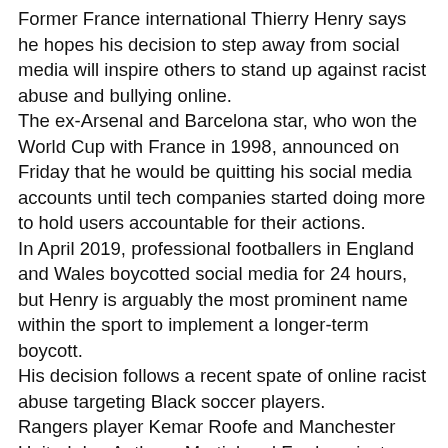Former France international Thierry Henry says he hopes his decision to step away from social media will inspire others to stand up against racist abuse and bullying online. The ex-Arsenal and Barcelona star, who won the World Cup with France in 1998, announced on Friday that he would be quitting his social media accounts until tech companies started doing more to hold users accountable for their actions. In April 2019, professional footballers in England and Wales boycotted social media for 24 hours, but Henry is arguably the most prominent name within the sport to implement a longer-term boycott. His decision follows a recent spate of online racist abuse targeting Black soccer players. Rangers player Kemar Roofe and Manchester United duo Anthony Martial and Fred are just some of the latest players to receive racist messages on their social media accounts.